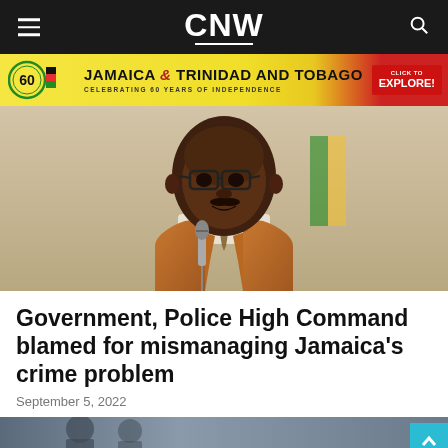CNW
[Figure (photo): Advertisement banner for Jamaica and Trinidad and Tobago celebrating 60 years of independence with a 'Click to Explore' button]
[Figure (photo): A Black man wearing glasses and a brown blazer speaking into a microphone at a podium]
Government, Police High Command blamed for mismanaging Jamaica's crime problem
September 5, 2022
[Figure (photo): Partial view of a bottom image showing military or police personnel]